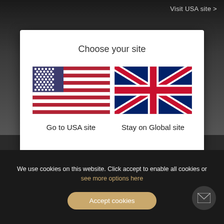Visit USA site >
Choose your site
[Figure (illustration): US flag SVG illustration]
Go to USA site
[Figure (illustration): UK flag (Union Jack) SVG illustration]
Stay on Global site
We use cookies on this website. Click accept to enable all cookies or see more options here
Accept cookies